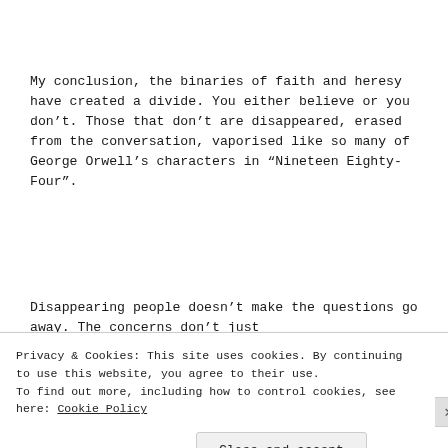My conclusion, the binaries of faith and heresy have created a divide. You either believe or you don't. Those that don't are disappeared, erased from the conversation, vaporised like so many of George Orwell's characters in “Nineteen Eighty-Four”.
Disappearing people doesn’t make the questions go away. The concerns don’t just
Privacy & Cookies: This site uses cookies. By continuing to use this website, you agree to their use.
To find out more, including how to control cookies, see here: Cookie Policy
Close and accept